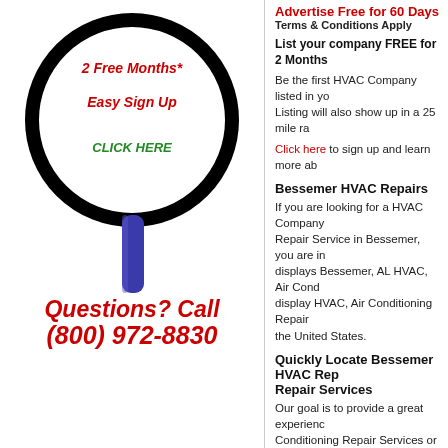[Figure (illustration): Magnifying glass illustration with text '2 Free Months* Easy Sign Up' and 'CLICK HERE' in green inside the glass lens]
Questions? Call (800) 972-8830
Advertise Free for 60 Days
Terms & Conditions Apply
List your company FREE for 2 Months
Be the first HVAC Company listed in your area. Listing will also show up in a 25 mile radius.
Click here to sign up and learn more about
Bessemer HVAC Repairs
If you are looking for a HVAC Company or HVAC Repair Service in Bessemer, you are in the right place! displays Bessemer, AL HVAC, Air Conditioning Repair display HVAC, Air Conditioning Repair the United States.
Quickly Locate Bessemer HVAC Repair Services
Our goal is to provide a great experience when searching for Air Conditioning Repair Services or Heating Repair Services. We keep our directory free of clutter and unnecessary listings to help you quickly locate Bessemer HVAC, Air Conditioning Repair Services using the FindLocal-HVAC Directory.
Please use our zip code search function